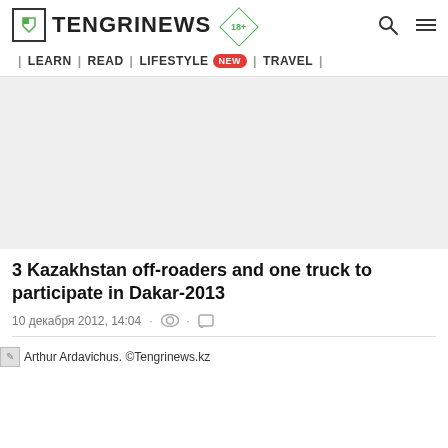TENGRINEWS 18+ | LEARN | READ | LIFESTYLE NEW | TRAVEL |
[Figure (other): Gray placeholder image area]
3 Kazakhstan off-roaders and one truck to participate in Dakar-2013
10 декабря 2012, 14:04
[Figure (photo): Arthur Ardavichus. ©Tengrinews.kz - broken image placeholder with caption]